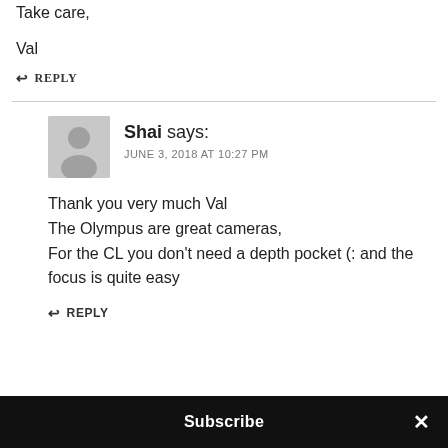Take care,

Val
↩ REPLY
Shai says:
JUNE 3, 2018 AT 10:27 PM
Thank you very much Val
The Olympus are great cameras,
For the CL you don't need a depth pocket (: and the focus is quite easy
↩ REPLY
Subscribe ×